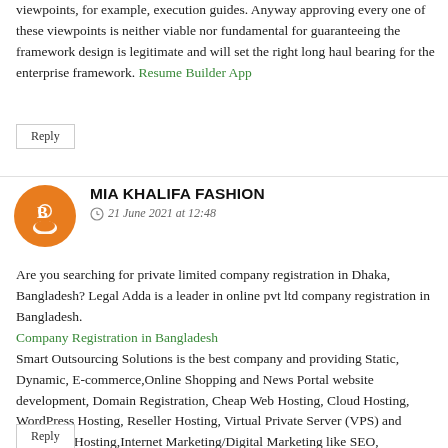viewpoints, for example, execution guides. Anyway approving every one of these viewpoints is neither viable nor fundamental for guaranteeing the framework design is legitimate and will set the right long haul bearing for the enterprise framework. Resume Builder App
Reply
MIA KHALIFA FASHION
21 June 2021 at 12:48
Are you searching for private limited company registration in Dhaka, Bangladesh? Legal Adda is a leader in online pvt ltd company registration in Bangladesh. Company Registration in Bangladesh Smart Outsourcing Solutions is the best company and providing Static, Dynamic, E-commerce,Online Shopping and News Portal website development, Domain Registration, Cheap Web Hosting, Cloud Hosting, WordPress Hosting, Reseller Hosting, Virtual Private Server (VPS) and Dedicated Hosting,Internet Marketing/Digital Marketing like SEO, outsourcing institute
Reply